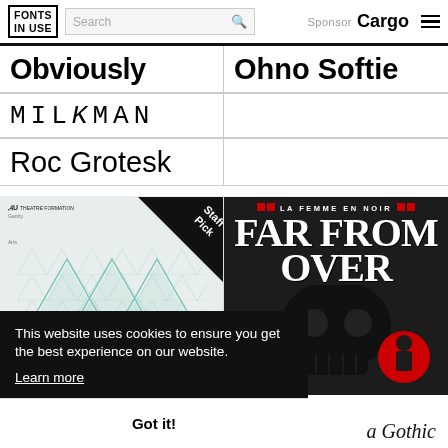FONTS IN USE | Search | Sponsor Cargo
Obviously
Ohno Softie
MILKMAN
Roc Grotesk
[Figure (illustration): Event poster with geometric teal triangle pattern and Staff Pick badge in black triangle]
[Figure (illustration): Black concert poster for 'La Femme En Noir' with large blackletter text 'FAR FROM OVER' and skull/red circle imagery]
This website uses cookies to ensure you get the best experience on our website.
Learn more
Got it!
a Gothic